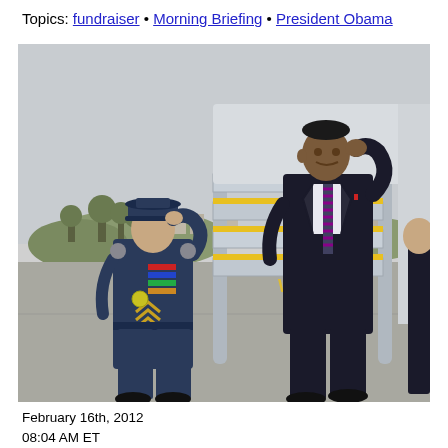Topics: fundraiser • Morning Briefing • President Obama
[Figure (photo): President Obama in a dark suit saluting while descending the stairs of Air Force One, accompanied by a uniformed Air Force officer in blue dress uniform also saluting. Airport tarmac with suburban background visible.]
February 16th, 2012
08:04 AM ET